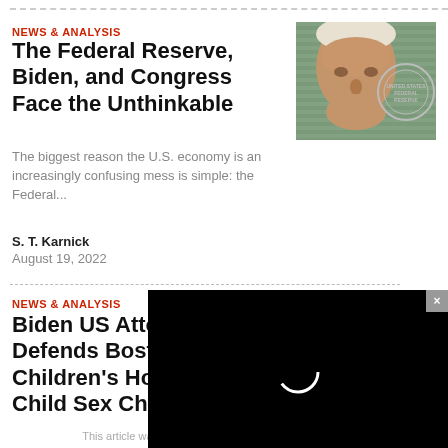NEWS & ANALYSIS
The Federal Reserve, Biden, and Congress Face the Unthinkable
[Figure (photo): Photo of Joe Biden with Federal Reserve seal in background (greenish horizontal stripes)]
The biggest reason the U.S. economy is an increasingly confusing mess is simple: the Federal...
S. T. Karnick
August 19, 2022
[Figure (screenshot): Black video player overlay with loading spinner and close (×) button in upper right]
NEWS & ANALYSIS
Biden US Attorney Defends Boston Children's Hospital Amid Child Sex Change Scandal
[Figure (photo): Photo of a woman with text overlay reading AFFIRMING HYSTERECTOMY]
This article was originally published at The Post Millennial,